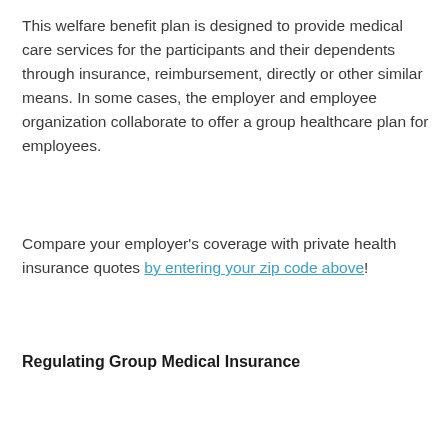This welfare benefit plan is designed to provide medical care services for the participants and their dependents through insurance, reimbursement, directly or other similar means. In some cases, the employer and employee organization collaborate to offer a group healthcare plan for employees.
Compare your employer's coverage with private health insurance quotes by entering your zip code above!
Regulating Group Medical Insurance